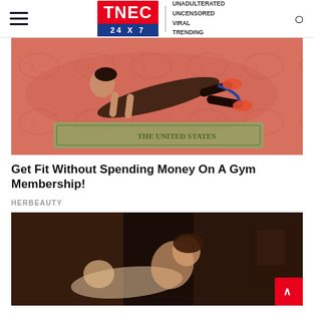TNEC 24X7 — UNADULTERATED UNCENSORED VIRAL TRENDING
[Figure (photo): Woman doing a plank exercise with resistance band on a background decorated with dollar bill imagery]
Get Fit Without Spending Money On A Gym Membership!
HERBEAUTY
[Figure (photo): Two people in a romantic scene lying on a bed in a dimly lit room]